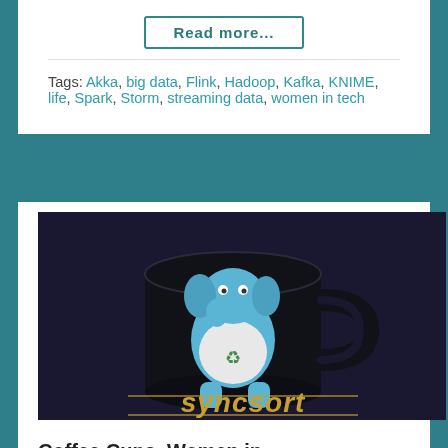Read more...
Tags: Akka, big data, Flink, Hadoop, Kafka, KNIME, life, Spark, Storm, streaming data, women in tech
[Figure (photo): A black coffee mug with a blue elephant mascot (Hadoop elephant) wearing a white t-shirt, on a dark background with the word 'syncsort' below in gold letters]
Coffee Cups, Women in